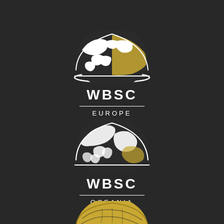[Figure (logo): WBSC Europe logo: globe icon (white with gold highlights) above text WBSC with horizontal divider line and EUROPE below]
[Figure (logo): WBSC Oceania logo: globe icon (white/grey) above text WBSC with horizontal divider line and OCEANIA below]
[Figure (logo): Partial WBSC logo at bottom: globe icon in gold/yellow, partially cut off]